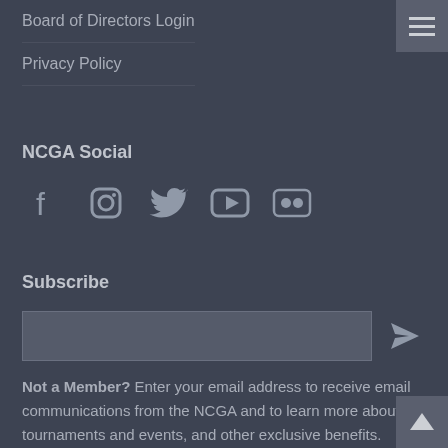Board of Directors Login
Privacy Policy
NCGA Social
[Figure (illustration): Social media icons: Facebook, Instagram, Twitter, YouTube, Flickr]
Subscribe
[Figure (illustration): Email subscription input box with send/arrow button]
Not a Member? Enter your email address to receive email communications from the NCGA and to learn more about our tournaments and events, and other exclusive benefits.